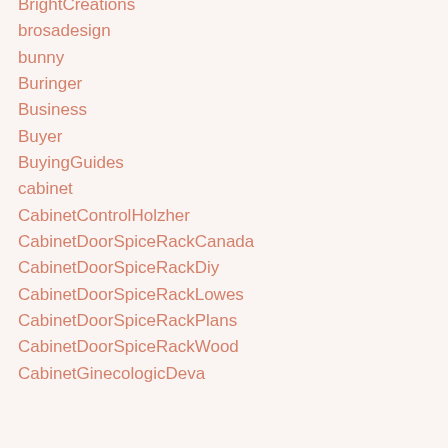BrightCreations
brosadesign
bunny
Buringer
Business
Buyer
BuyingGuides
cabinet
CabinetControlHolzher
CabinetDoorSpiceRackCanada
CabinetDoorSpiceRackDiy
CabinetDoorSpiceRackLowes
CabinetDoorSpiceRackPlans
CabinetDoorSpiceRackWood
CabinetGinecologicDeva